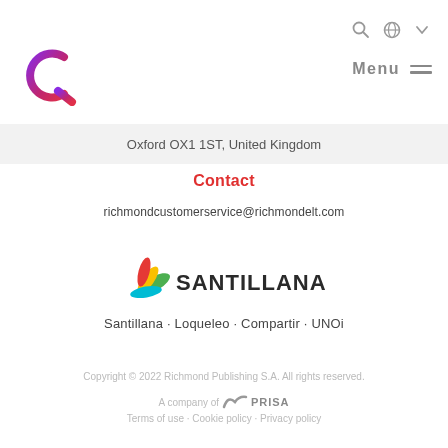[Figure (logo): Richmond ELT logo - stylized letter R in purple and pink gradient]
Menu
Oxford OX1 1ST, United Kingdom
Contact
richmondcustomerservice@richmondelt.com
[Figure (logo): Santillana logo with colorful bird/feather mark and bold SANTILLANA text]
Santillana · Loqueleo · Compartir · UNOi
Copyright © 2022 Richmond Publishing S.A. All rights reserved. A company of PRISA
Terms of use · Cookie policy · Privacy policy